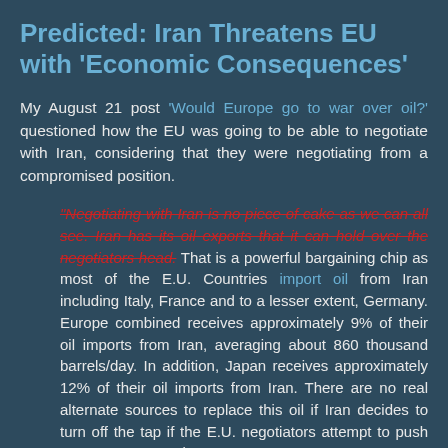Predicted: Iran Threatens EU with 'Economic Consequences'
My August 21 post 'Would Europe go to war over oil?' questioned how the EU was going to be able to negotiate with Iran, considering that they were negotiating from a compromised position.
“Negotiating with Iran is no piece of cake as we can all see. Iran has its oil exports that it can hold over the negotiators head. That is a powerful bargaining chip as most of the E.U. Countries import oil from Iran including Italy, France and to a lesser extent, Germany. Europe combined receives approximately 9% of their oil imports from Iran, averaging about 860 thousand barrels/day. In addition, Japan receives approximately 12% of their oil imports from Iran. There are no real alternate sources to replace this oil if Iran decides to turn off the tap if the E.U. negotiators attempt to push Iran on permanently